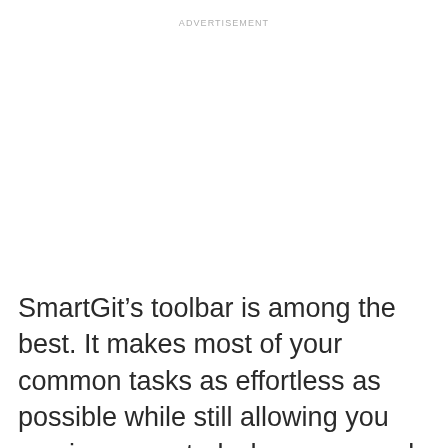ADVERTISEMENT
SmartGit’s toolbar is among the best. It makes most of your common tasks as effortless as possible while still allowing you maximum control when you need it.